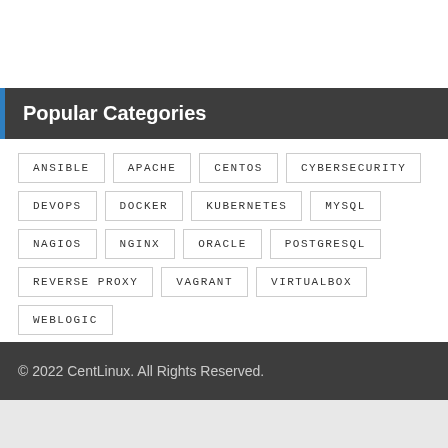Popular Categories
ANSIBLE
APACHE
CENTOS
CYBERSECURITY
DEVOPS
DOCKER
KUBERNETES
MYSQL
NAGIOS
NGINX
ORACLE
POSTGRESQL
REVERSE PROXY
VAGRANT
VIRTUALBOX
WEBLOGIC
© 2022 CentLinux. All Rights Reserved.